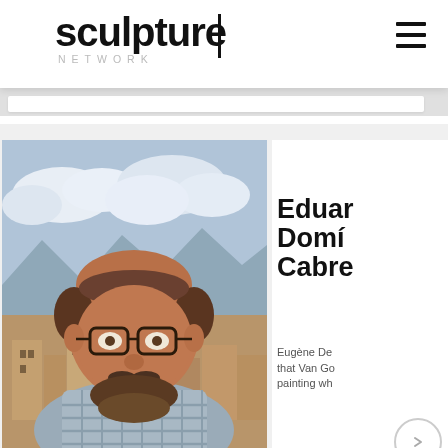sculpture NETWORK
[Figure (photo): Portrait photo of Eduardo Domínguez Cabrera, a middle-aged man with glasses, beard and moustache, wearing a plaid shirt, photographed outdoors with mountains, rooftops and cloudy sky in background]
Eduardo Domínguez Cabrera
Eugène De... that Van Go... painting wh...